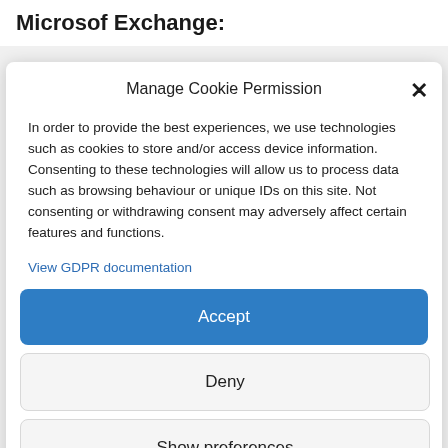Microsof Exchange:
Manage Cookie Permission
In order to provide the best experiences, we use technologies such as cookies to store and/or access device information. Consenting to these technologies will allow us to process data such as browsing behaviour or unique IDs on this site. Not consenting or withdrawing consent may adversely affect certain features and functions.
View GDPR documentation
Accept
Deny
Show preferences